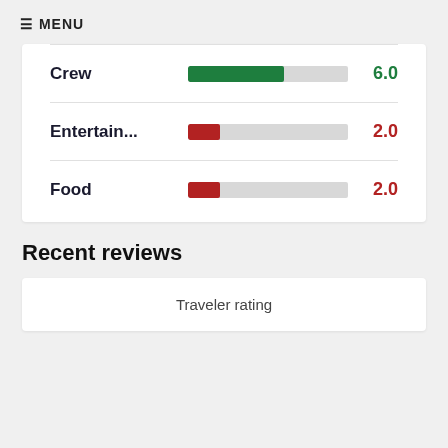☰ MENU
[Figure (bar-chart): Ratings]
Recent reviews
Traveler rating